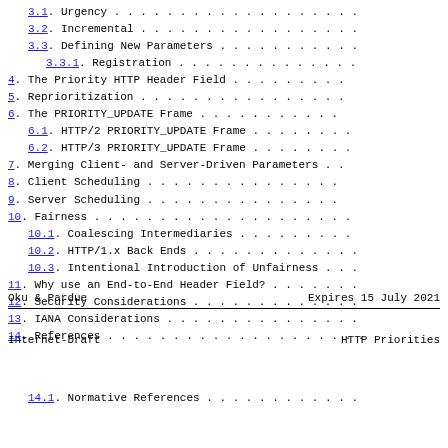3.1. Urgency . . . . . . . . . . . . . . . . . . .
3.2. Incremental . . . . . . . . . . . . . . . . .
3.3. Defining New Parameters . . . . . . . . . . .
3.3.1. Registration . . . . . . . . . . . . . .
4. The Priority HTTP Header Field . . . . . . . . .
5. Reprioritization . . . . . . . . . . . . . . . .
6. The PRIORITY_UPDATE Frame . . . . . . . . . . .
6.1. HTTP/2 PRIORITY_UPDATE Frame . . . . . . . .
6.2. HTTP/3 PRIORITY_UPDATE Frame . . . . . . . .
7. Merging Client- and Server-Driven Parameters . .
8. Client Scheduling . . . . . . . . . . . . . . .
9. Server Scheduling . . . . . . . . . . . . . . .
10. Fairness . . . . . . . . . . . . . . . . . . .
10.1. Coalescing Intermediaries . . . . . . . . .
10.2. HTTP/1.x Back Ends . . . . . . . . . . . .
10.3. Intentional Introduction of Unfairness . .
11. Why use an End-to-End Header Field? . . . . . .
12. Security Considerations . . . . . . . . . . . .
13. IANA Considerations . . . . . . . . . . . . . .
14. References . . . . . . . . . . . . . . . . . . .
Oku & Pardue                    Expires 15 July 2021
Internet-Draft                       HTTP Priorities
14.1. Normative References . . . . . . . . . . .